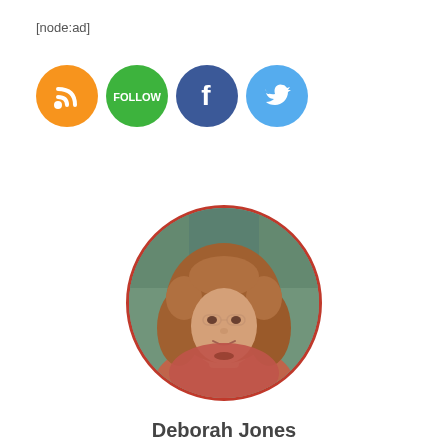[node:ad]
[Figure (illustration): Four social media icon circles: orange RSS feed icon, green FOLLOW button, dark blue Facebook 'f' icon, light blue Twitter bird icon]
[Figure (photo): Circular profile photo of Deborah Jones, a woman with curly reddish-brown hair, smiling, wearing an orange/red scarf, with a blurred outdoor background. The circle has a red border.]
Deborah Jones